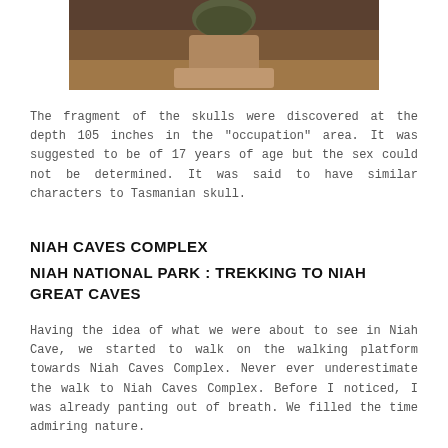[Figure (photo): A photograph showing an artifact or skull fragment on a pedestal/stand, with brownish background.]
The fragment of the skulls were discovered at the depth 105 inches in the "occupation" area. It was suggested to be of 17 years of age but the sex could not be determined. It was said to have similar characters to Tasmanian skull.
NIAH CAVES COMPLEX
NIAH NATIONAL PARK : TREKKING TO NIAH GREAT CAVES
Having the idea of what we were about to see in Niah Cave, we started to walk on the walking platform towards Niah Caves Complex. Never ever underestimate the walk to Niah Caves Complex. Before I noticed, I was already panting out of breath. We filled the time admiring nature.